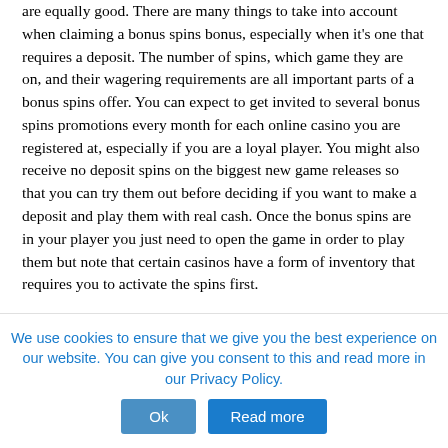are equally good. There are many things to take into account when claiming a bonus spins bonus, especially when it's one that requires a deposit. The number of spins, which game they are on, and their wagering requirements are all important parts of a bonus spins offer. You can expect to get invited to several bonus spins promotions every month for each online casino you are registered at, especially if you are a loyal player. You might also receive no deposit spins on the biggest new game releases so that you can try them out before deciding if you want to make a deposit and play them with real cash. Once the bonus spins are in your player you just need to open the game in order to play them but note that certain casinos have a form of inventory that requires you to activate the spins first.
Before you jump around from casino to casino and claim their welcome bonus spins, there are a few things you should know. Nearly all bonus spins come with a wager requirement, which means that you need to play through your winnings a set amount of times before you can cash it out. There are also several rules and terms that you definitely should learn. We'll get to all of these a bit later in this guide, but we can direct those who want to continue gaming...
We use cookies to ensure that we give you the best experience on our website. You can give you consent to this and read more in our Privacy Policy.